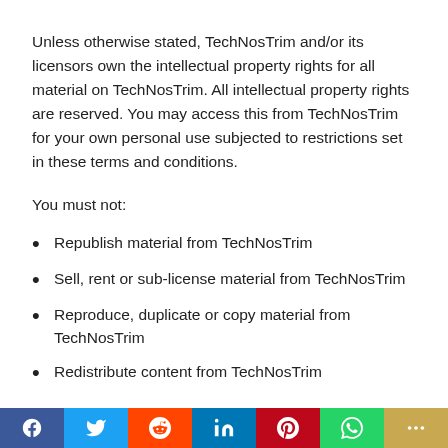Unless otherwise stated, TechNosTrim and/or its licensors own the intellectual property rights for all material on TechNosTrim. All intellectual property rights are reserved. You may access this from TechNosTrim for your own personal use subjected to restrictions set in these terms and conditions.
You must not:
Republish material from TechNosTrim
Sell, rent or sub-license material from TechNosTrim
Reproduce, duplicate or copy material from TechNosTrim
Redistribute content from TechNosTrim
This Agreement shall begin on the date hereof. Our Terms and